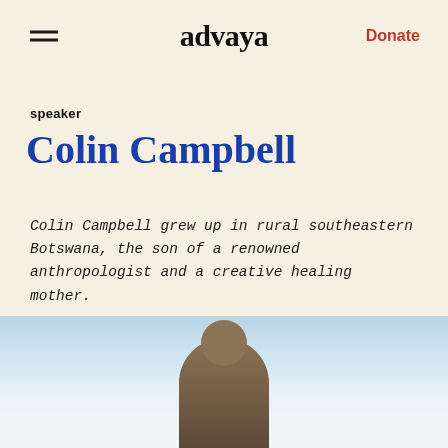advaya | Donate
speaker
Colin Campbell
Colin Campbell grew up in rural southeastern Botswana, the son of a renowned anthropologist and a creative healing mother.
[Figure (photo): Photo of Colin Campbell, showing a person from approximately waist up against a light blue sky background]